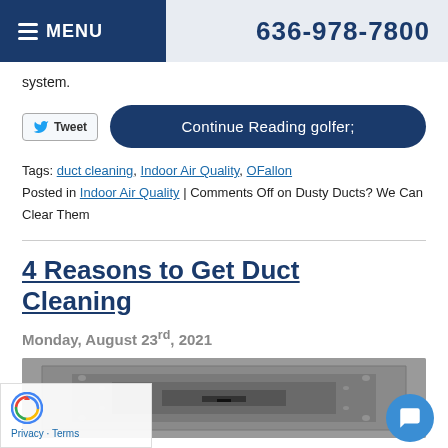MENU  636-978-7800
system.
Tweet | Continue Reading
Tags: duct cleaning, Indoor Air Quality, OFallon
Posted in Indoor Air Quality | Comments Off on Dusty Ducts? We Can Clear Them
4 Reasons to Get Duct Cleaning
Monday, August 23rd, 2021
[Figure (photo): Interior view of a metal HVAC duct looking inward, showing rectangular duct tunnel in grayscale]